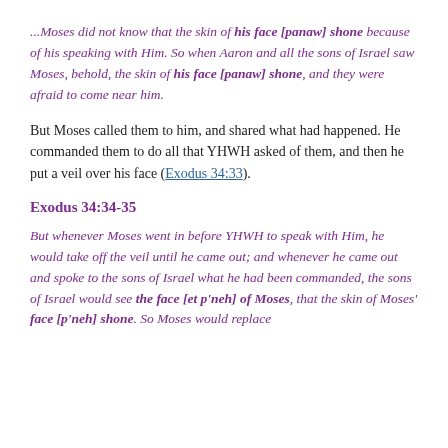...Moses did not know that the skin of his face [panaw] shone because of his speaking with Him. So when Aaron and all the sons of Israel saw Moses, behold, the skin of his face [panaw] shone, and they were afraid to come near him.
But Moses called them to him, and shared what had happened. He commanded them to do all that YHWH asked of them, and then he put a veil over his face (Exodus 34:33).
Exodus 34:34-35
But whenever Moses went in before YHWH to speak with Him, he would take off the veil until he came out; and whenever he came out and spoke to the sons of Israel what he had been commanded, the sons of Israel would see the face [et p'neh] of Moses, that the skin of Moses' face [p'neh] shone. So Moses would replace...